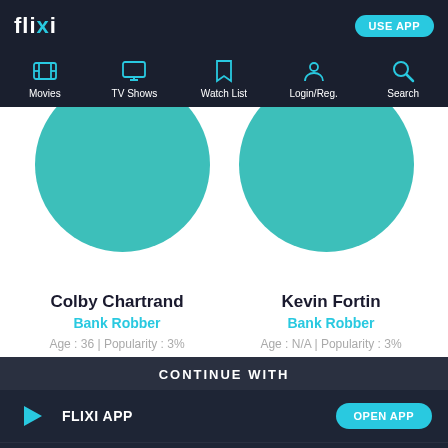flixi — USE APP
[Figure (screenshot): Navigation bar with icons for Movies, TV Shows, Watch List, Login/Reg., Search]
[Figure (illustration): Two teal circular avatar placeholders side by side]
Colby Chartrand
Bank Robber
Age : 36 | Popularity : 3%
Kevin Fortin
Bank Robber
Age : N/A | Popularity : 3%
CONTINUE WITH
FLIXI APP — OPEN APP
CHROME — CONTINUE